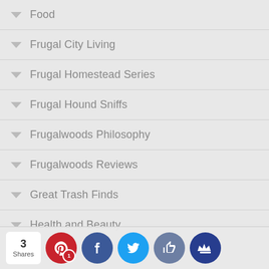Food
Frugal City Living
Frugal Homestead Series
Frugal Hound Sniffs
Frugalwoods Philosophy
Frugalwoods Reviews
Great Trash Finds
Health and Beauty
Health Insurance
Holidays & Special Occasions